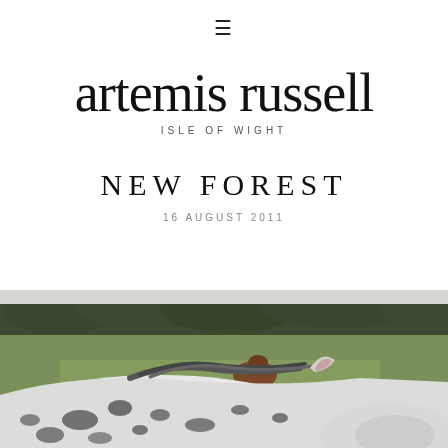≡
artemis russell
ISLE OF WIGHT
NEW FOREST
16 AUGUST 2011
[Figure (photo): Photograph of horses in a green field with trees in the background. Foreground shows close-up of a white horse with black spots; a brown horse is visible further back.]